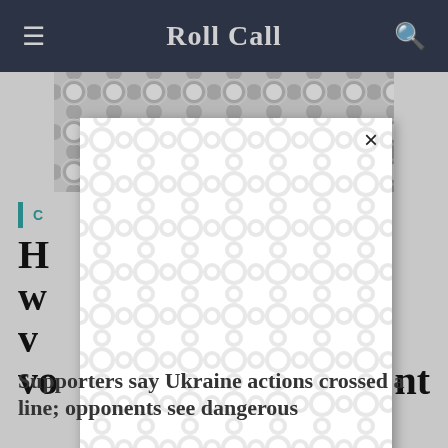Roll Call
[Figure (other): Advertisement placeholder with repeating chain-link/blob pattern, partially obscured by a white modal popup with an X close button containing the same pattern]
C...
H... w... v... vo... ...nt
Supporters say Ukraine actions crossed a line; opponents see dangerous